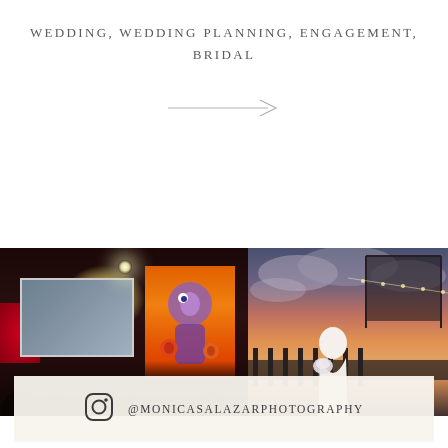WEDDING, WEDDING PLANNING, ENGAGEMENT, BRIDAL
[Figure (illustration): A rightward pointing arrow in light gray]
[Figure (photo): Left panel: Dark cinema/theater interior with a bright light, a glowing movie screen on the left, an orange illuminated Monsters Inc themed display on the right, red star shape on far left, audience silhouettes in foreground]
[Figure (photo): Right panel: A bride in a white off-shoulder mermaid gown holding a bouquet, standing outdoors at dusk/sunset with dramatic pink and blue sky, a dark fence and structure behind her]
@MONICASALAZARPHOTOGRAPHY